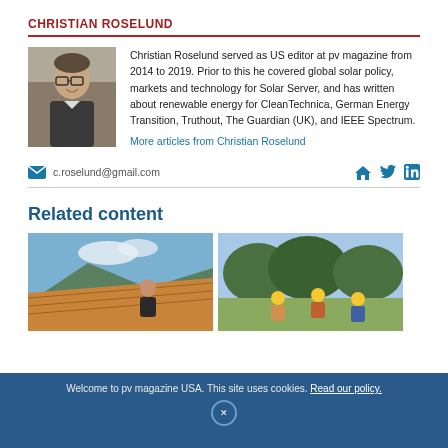CHRISTIAN ROSELUND
[Figure (photo): Headshot of Christian Roselund, a man with glasses and short hair, smiling.]
Christian Roselund served as US editor at pv magazine from 2014 to 2019. Prior to this he covered global solar policy, markets and technology for Solar Server, and has written about renewable energy for CleanTechnica, German Energy Transition, Truthout, The Guardian (UK), and IEEE Spectrum.
More articles from Christian Roselund
c.roselund@gmail.com
Related content
[Figure (photo): Worker installing solar panels on a roof.]
[Figure (photo): Workers in yellow hard hats working outdoors with trees in background.]
Welcome to pv magazine USA. This site uses cookies. Read our policy.